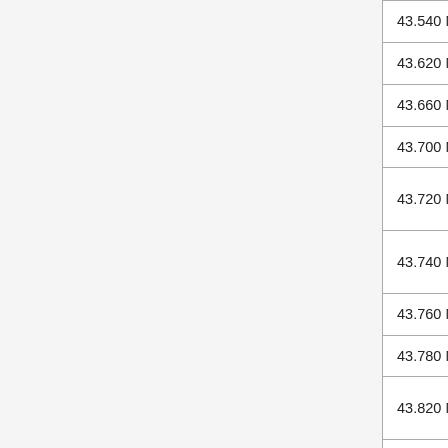| Frequency | Description |
| --- | --- |
| 43.540 MHz | Old IMTS Mobile Channel ZR (paired with 35.54 MHz) |
| 43.620 MHz | Old IMTS Mobile Channel ZW (paired with 35.62 MHz) |
| 43.660 MHz | Old IMTS Mobile Channel ZL (paired with 35.66 MHz) |
| 43.700 MHz |  |
| 43.720 MHz | shared with low power cordless phones (base - paired with 48.76 MHz) |
| 43.740 MHz | shared with low power cordless phones (base - paired with 48.84 MHz) |
| 43.760 MHz |  |
| 43.780 MHz |  |
| 43.820 MHz | shared with low power cordless phones (base - paired with 48.86 MHz) |
| 43.840 MHz | shared with low power cordless phones (base - paired with 48.86 MHz) |